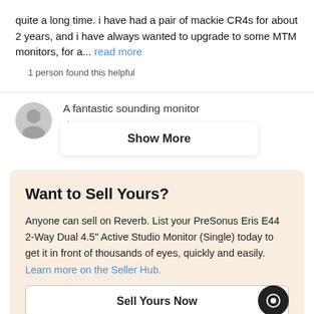quite a long time. i have had a pair of mackie CR4s for about 2 years, and i have always wanted to upgrade to some MTM monitors, for a... read more
1 person found this helpful
A fantastic sounding monitor
[Figure (screenshot): Show More overlay button on top of review section]
... it in conjunction with my Yamaha TUBC...
Want to Sell Yours?
Anyone can sell on Reverb. List your PreSonus Eris E44 2-Way Dual 4.5" Active Studio Monitor (Single) today to get it in front of thousands of eyes, quickly and easily. Learn more on the Seller Hub.
Sell Yours Now